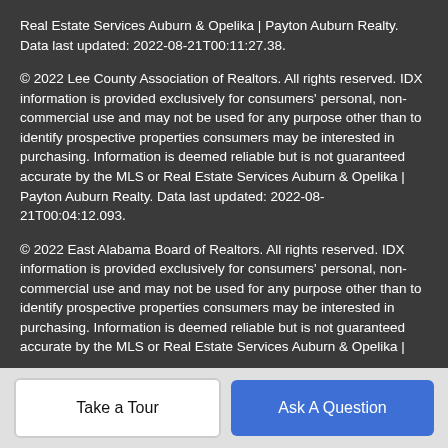Real Estate Services Auburn & Opelika | Payton Auburn Realty. Data last updated: 2022-08-21T00:11:27.38.
© 2022 Lee County Association of Realtors. All rights reserved. IDX information is provided exclusively for consumers' personal, non-commercial use and may not be used for any purpose other than to identify prospective properties consumers may be interested in purchasing. Information is deemed reliable but is not guaranteed accurate by the MLS or Real Estate Services Auburn & Opelika | Payton Auburn Realty. Data last updated: 2022-08-21T00:04:12.093.
© 2022 East Alabama Board of Realtors. All rights reserved. IDX information is provided exclusively for consumers' personal, non-commercial use and may not be used for any purpose other than to identify prospective properties consumers may be interested in purchasing. Information is deemed reliable but is not guaranteed accurate by the MLS or Real Estate Services Auburn & Opelika |
Take a Tour | Ask A Question